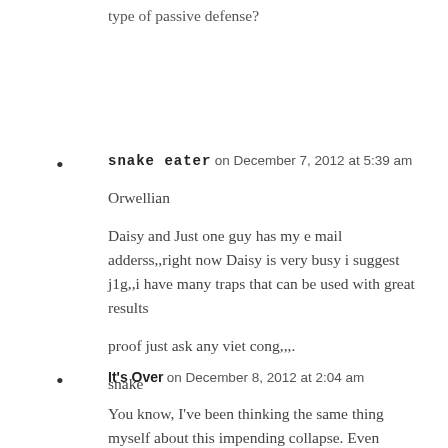type of passive defense?
snake eater on December 7, 2012 at 5:39 am

Orwellian

Daisy and Just one guy has my e mail adderss,,right now Daisy is very busy i suggest j1g,,i have many traps that can be used with great results

proof just ask any viet cong,,,.

snake
It's Over on December 8, 2012 at 2:04 am

You know, I've been thinking the same thing myself about this impending collapse. Even